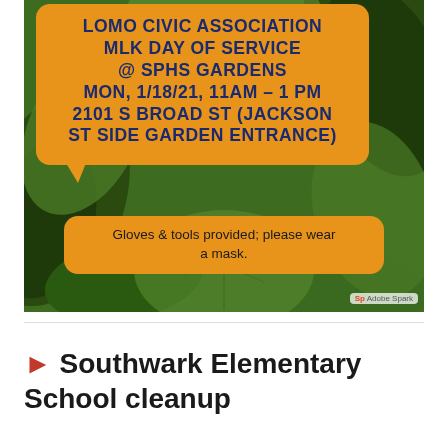[Figure (illustration): Flyer for LOMO Civic Association MLK Day of Service event at SPHS Gardens on Mon, 1/18/21, 11AM–1PM at 2101 S Broad St (Jackson St Side Garden Entrance). Background is dark green with leaf motifs. Main orange speech bubble contains event details in dark blue bold text. Lower orange bubble says 'Gloves & tools provided; please wear a mask.' Adobe Spark badge in bottom right.]
▶ Southwark Elementary School cleanup